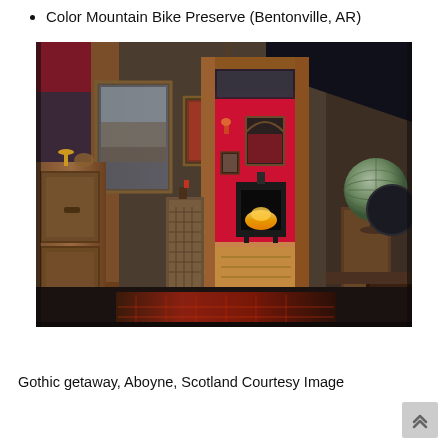Color Mountain Bike Preserve (Bentonville, AR)
[Figure (photo): Interior hallway of a gothic-style home in Aboyne, Scotland. Dark charcoal walls with warm wooden door frames lead through to a vivid red room with a lit fireplace. Antique wooden furniture and framed artwork are visible, along with a globe on the right side and a decorative rug on the floor.]
Gothic getaway, Aboyne, Scotland Courtesy Image